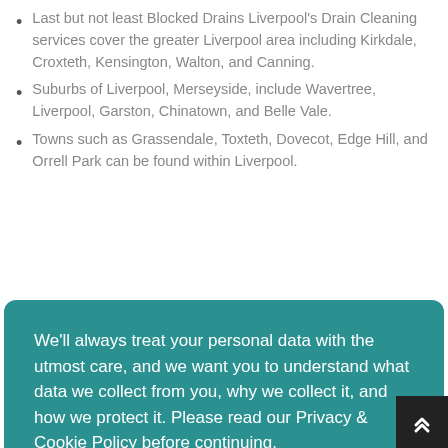Last but not least Blocked Drains Liverpool's Drain Cleaning services cover the greater Liverpool area including Kirkdale, Croxteth, Kensington, Walton, and Canning.
Suburbs of Liverpool, Merseyside, include Wavertree, Liverpool, Garston, Chinatown, and Belle Vale.
Towns such as Grassendale, Toxteth, Dovecot, Edge Hill, and Orrell Park can be found within Liverpool.
We'll always treat your personal data with the utmost care, and we want you to understand what data we collect from you, why we collect it, and how we protect it. Please read our Privacy & Cookie Policy before continuing.
Read Our Privacy and Cookie Policy
Decline
Accept